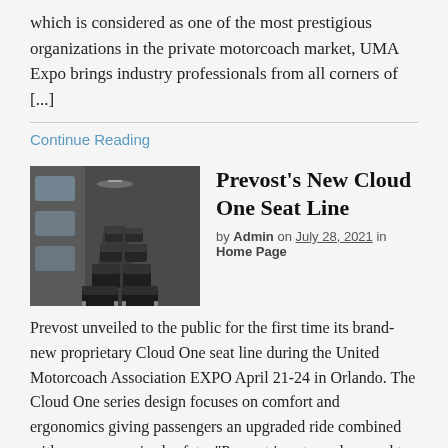which is considered as one of the most prestigious organizations in the private motorcoach market, UMA Expo brings industry professionals from all corners of [...]
Continue Reading
Prevost's New Cloud One Seat Line
by Admin on July 28, 2021 in Home Page
[Figure (photo): Interior of a motorcoach showing rows of dark leather passenger seats]
Prevost unveiled to the public for the first time its brand-new proprietary Cloud One seat line during the United Motorcoach Association EXPO April 21-24 in Orlando. The Cloud One series design focuses on comfort and ergonomics giving passengers an upgraded ride combined with uncompromised safety. "Prevost is extremely proud to share the Cloud One line [...]